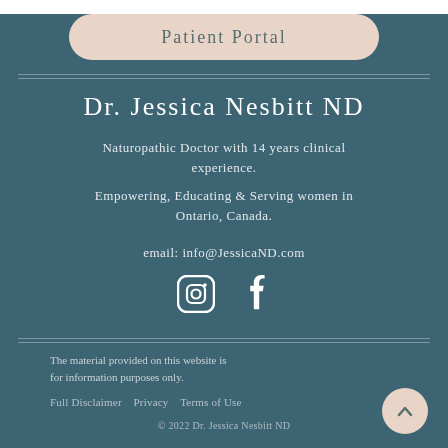Patient Portal
Dr. Jessica Nesbitt ND
Naturopathic Doctor with 14 years clinical experience.
Empowering, Educating & Serving women in Ontario, Canada.
email: info@JessicaND.com
[Figure (illustration): Instagram and Facebook social media icons in white]
The material provided on this website is for information purposes only.
Full Disclaimer   Privacy   Terms of Use   © 2022 Dr. Jessica Nesbitt ND